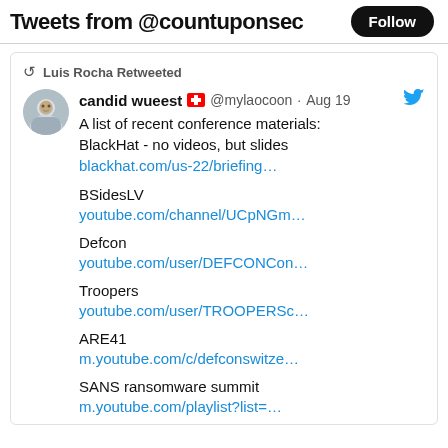Tweets from @countuponsec
Luis Rocha Retweeted
candid wueest 🇨🇭 @mylaocoon · Aug 19
A list of recent conference materials:
BlackHat - no videos, but slides
blackhat.com/us-22/briefing…

BSidesLV
youtube.com/channel/UCpNGm…

Defcon
youtube.com/user/DEFCONCon…

Troopers
youtube.com/user/TROOPERSc…

ARE41
m.youtube.com/c/defconswitzе…

SANS ransomware summit
m.youtube.com/playlist?list=…